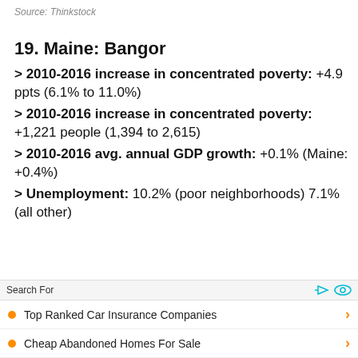Source: Thinkstock
19. Maine: Bangor
> 2010-2016 increase in concentrated poverty: +4.9 ppts (6.1% to 11.0%)
> 2010-2016 increase in concentrated poverty: +1,221 people (1,394 to 2,615)
> 2010-2016 avg. annual GDP growth: +0.1% (Maine: +0.4%)
> Unemployment: 10.2% (poor neighborhoods) 7.1% (all other)
Search For
Top Ranked Car Insurance Companies
Cheap Abandoned Homes For Sale